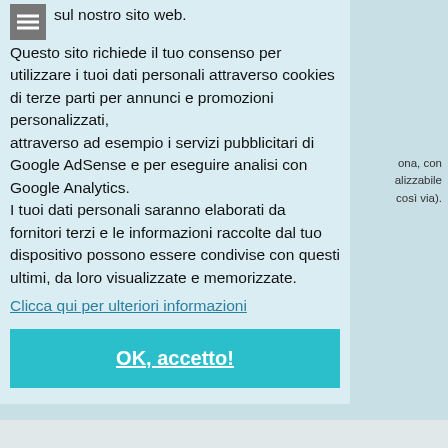sul nostro sito web.
Questo sito richiede il tuo consenso per utilizzare i tuoi dati personali attraverso cookies di terze parti per annunci e promozioni personalizzati,
attraverso ad esempio i servizi pubblicitari di Google AdSense e per eseguire analisi con Google Analytics.
I tuoi dati personali saranno elaborati da fornitori terzi e le informazioni raccolte dal tuo dispositivo possono essere condivise con questi ultimi, da loro visualizzate e memorizzate.
Clicca qui per ulteriori informazioni
ona, con alizzabile così via).
OK, accetto!